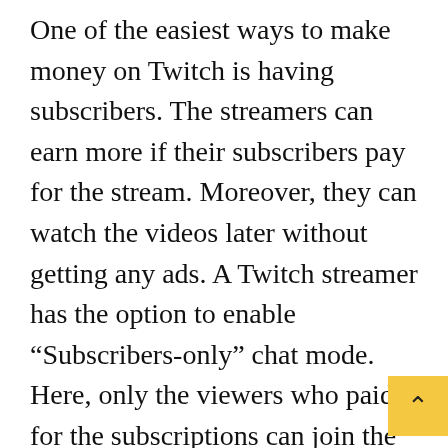One of the easiest ways to make money on Twitch is having subscribers. The streamers can earn more if their subscribers pay for the stream. Moreover, they can watch the videos later without getting any ads. A Twitch streamer has the option to enable "Subscribers-only" chat mode. Here, only the viewers who paid for the subscriptions can join the stream.
Twitch Bits Revenue
Bits are Twitch's in-game currency. Each bit is worth $0.01 which is given to the streamer. And, you can also change the bit value from the…